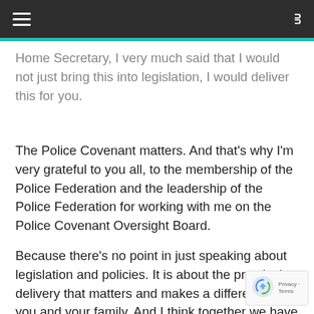[navigation bar with hamburger menu and shuffle icon]
Home Secretary, I very much said that I would not just bring this into legislation, I would deliver this for you.
The Police Covenant matters. And that’s why I’m very grateful to you all, to the membership of the Police Federation and the leadership of the Police Federation for working with me on the Police Covenant Oversight Board.
Because there’s no point in just speaking about legislation and policies. It is about the practical delivery that matters and makes a difference to you and your family. And I think together we have set the right priorities, driven delivery, but also do something else: we continue to challenge each other to do better and constantly learn from each